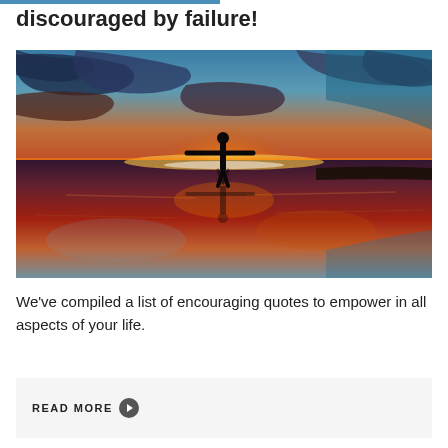discouraged by failure!
[Figure (photo): Silhouette of a person standing with arms outstretched on a reflective surface at sunset, with dramatic orange, red, and blue sky. The reflection mirrors the figure in the water below.]
We've compiled a list of encouraging quotes to empower in all aspects of your life.
READ MORE